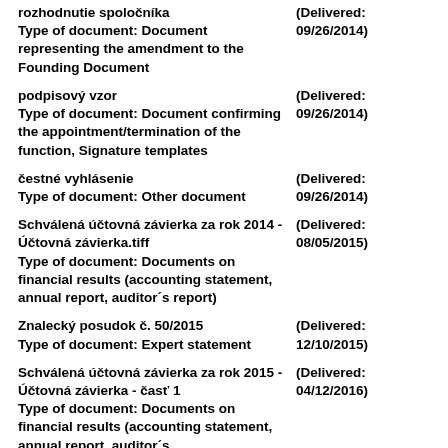rozhodnutie spoločníka
Type of document: Document representing the amendment to the Founding Document
(Delivered: 09/26/2014)
podpisový vzor
Type of document: Document confirming the appointment/termination of the function, Signature templates
(Delivered: 09/26/2014)
čestné vyhlásenie
Type of document: Other document
(Delivered: 09/26/2014)
Schválená účtovná závierka za rok 2014 - Účtovná závierka.tiff
Type of document: Documents on financial results (accounting statement, annual report, auditor´s report)
(Delivered: 08/05/2015)
Znalecký posudok č. 50/2015
Type of document: Expert statement
(Delivered: 12/10/2015)
Schválená účtovná závierka za rok 2015 - Účtovná závierka - časť 1
Type of document: Documents on financial results (accounting statement, annual report, auditor´s
(Delivered: 04/12/2016)